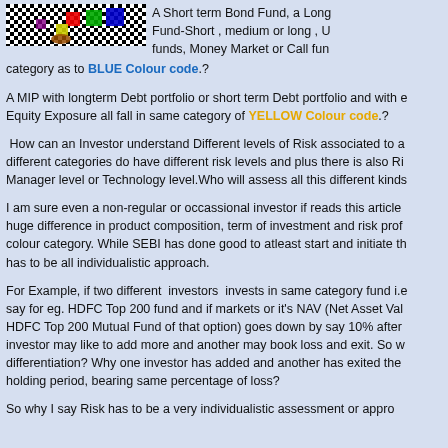[Figure (photo): Colorful checkerboard pattern image with colored blocks (red, green, blue) on a black and white checkerboard background]
A Short term Bond Fund, a Long term Bond Fund, a Liquid Fund-Short, medium or long, Ultra Short term funds, Money Market or Call funds – all fall in same category as to BLUE Colour code.?
A MIP with longterm Debt portfolio or short term Debt portfolio and with equity Equity Exposure all fall in same category of YELLOW Colour code.?
How can an Investor understand Different levels of Risk associated to a? different categories do have different risk levels and plus there is also Risk at Manager level or Technology level.Who will assess all this different kinds
I am sure even a non-regular or occassional investor if reads this article – huge difference in product composition, term of investment and risk profile but same colour category. While SEBI has done good to atleast start and initiate the has to be all individualistic approach.
For Example, if two different investors invests in same category fund i.e. say for eg. HDFC Top 200 fund and if markets or it's NAV (Net Asset Value of HDFC Top 200 Mutual Fund of that option) goes down by say 10% after investor may like to add more and another may book loss and exit. So what is the differentiation? Why one investor has added and another has exited the holding period, bearing same percentage of loss?
So why I say Risk has to be a very individualistic assessment or approach...